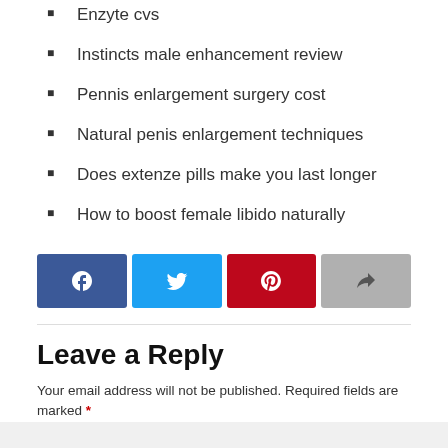Enzyte cvs
Instincts male enhancement review
Pennis enlargement surgery cost
Natural penis enlargement techniques
Does extenze pills make you last longer
How to boost female libido naturally
[Figure (infographic): Social share buttons: Facebook (dark blue), Twitter (light blue), Pinterest (red), Share (gray)]
Leave a Reply
Your email address will not be published. Required fields are marked *